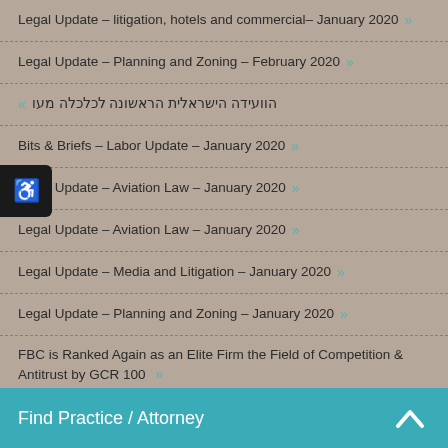Legal Update – litigation, hotels and commercial– January 2020 »
Legal Update – Planning and Zoning – February 2020 »
הוועידה הישראלית הראשונה לכלכלה מעו »
Bits & Briefs – Labor Update – January 2020 »
Legal Update – Aviation Law – January 2020 »
Legal Update – Aviation Law – January 2020 »
Legal Update – Media and Litigation – January 2020 »
Legal Update – Planning and Zoning – January 2020 »
FBC is Ranked Again as an Elite Firm the Field of Competition & Antitrust by GCR 100 »
Legal Update – Cyber & Information Technologies – January 2020 »
Find Practice / Attorney